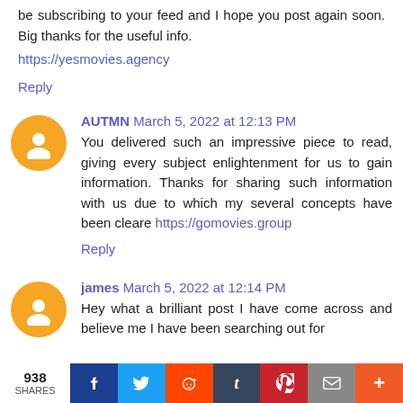be subscribing to your feed and I hope you post again soon. Big thanks for the useful info.
https://yesmovies.agency
Reply
AUTMN March 5, 2022 at 12:13 PM
You delivered such an impressive piece to read, giving every subject enlightenment for us to gain information. Thanks for sharing such information with us due to which my several concepts have been cleare https://gomovies.group
Reply
james March 5, 2022 at 12:14 PM
Hey what a brilliant post I have come across and believe me I have been searching out for
[Figure (infographic): Social share bar with 938 shares, Facebook, Twitter, Reddit, Tumblr, Pinterest, Email, and More buttons]